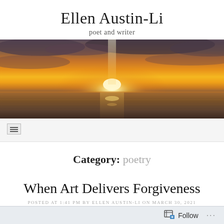Ellen Austin-Li
poet and writer
[Figure (photo): Wide panoramic sunset photograph over ocean water. Bright orange and yellow sky with sun low on the horizon casting a column of light on the calm sea. Dark clouds above.]
[Figure (other): Navigation hamburger menu icon (three horizontal lines) inside a light grey square button]
Category: poetry
When Art Delivers Forgiveness
Posted at 1:41 pm by Ellen Austin-Li on March 30, 2021